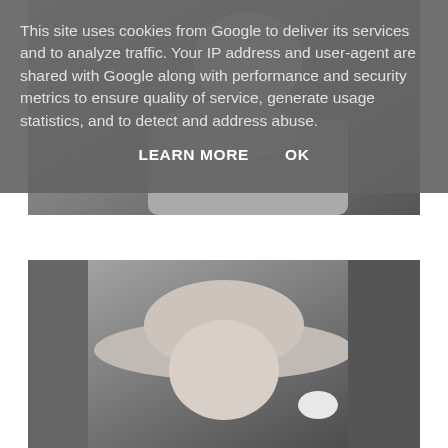[Figure (photo): Black and white photograph of a person looking downward, partial view showing upper body and face in profile]
[Figure (photo): Black and white photograph of a person wearing a wide-brimmed sun hat, looking toward the camera, holding something white]
This site uses cookies from Google to deliver its services and to analyze traffic. Your IP address and user-agent are shared with Google along with performance and security metrics to ensure quality of service, generate usage statistics, and to detect and address abuse.
LEARN MORE    OK